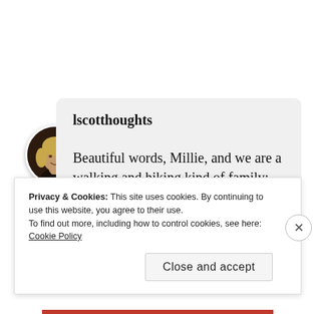[Figure (photo): Circular avatar photo of a smiling woman with blonde hair, hands clasped near chin, against a dark background.]
lscotthoughts
Beautiful words, Millie, and we are a walking and hiking kind of family; always enjoying new beauty and wonder.
Privacy & Cookies: This site uses cookies. By continuing to use this website, you agree to their use.
To find out more, including how to control cookies, see here: Cookie Policy
Close and accept